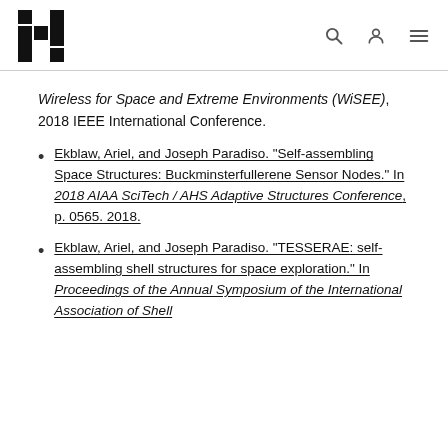MIT Media Lab logo with search, user, and menu icons
Wireless for Space and Extreme Environments (WiSEE), 2018 IEEE International Conference.
Ekblaw, Ariel, and Joseph Paradiso. "Self-assembling Space Structures: Buckminsterfullerene Sensor Nodes." In 2018 AIAA SciTech / AHS Adaptive Structures Conference, p. 0565. 2018.
Ekblaw, Ariel, and Joseph Paradiso. "TESSERAE: self-assembling shell structures for space exploration." In Proceedings of the Annual Symposium of the International Association of Shell